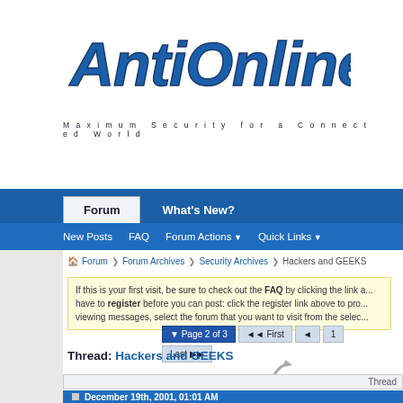[Figure (logo): AntiOnline logo with stylized blue text and tagline 'Maximum Security for a Connected World']
Forum | What's New?
New Posts   FAQ   Forum Actions ▼   Quick Links ▼
Forum ❯ Forum Archives ❯ Security Archives ❯ Hackers and GEEKS
If this is your first visit, be sure to check out the FAQ by clicking the link a... have to register before you can post: click the register link above to pro... viewing messages, select the forum that you want to visit from the selec...
Page 2 of 3   ◄◄ First   ◄   1   Last ►►
Thread: Hackers and GEEKS
Thread
December 19th, 2001, 01:01 AM